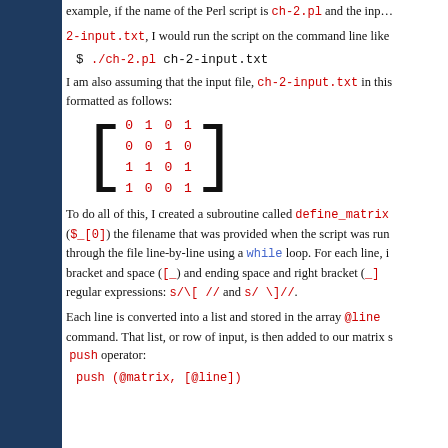example, if the name of the Perl script is ch-2.pl and the input file is ch-2-input.txt, I would run the script on the command line like
I am also assuming that the input file, ch-2-input.txt in this case, is formatted as follows:
[Figure (math-figure): Matrix with 4 rows and 4 columns: [0 1 0 1 / 0 0 1 0 / 1 1 0 1 / 1 0 0 1]]
To do all of this, I created a subroutine called define_matrix that takes ($_[0]) the filename that was provided when the script was run, reads through the file line-by-line using a while loop. For each line, it strips the bracket and space ([ ) and ending space and right bracket ( ]) using regular expressions: s/\[  // and s/  \]//.
Each line is converted into a list and stored in the array @line using the split command. That list, or row of input, is then added to our matrix using the push operator: